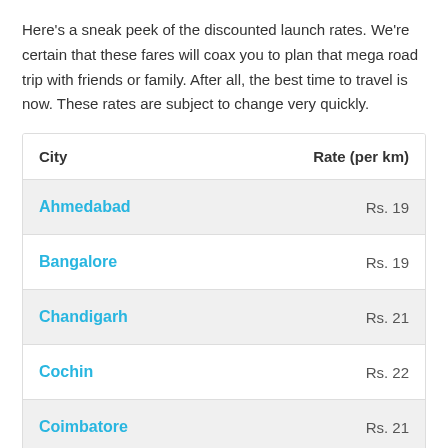Here's a sneak peek of the discounted launch rates. We're certain that these fares will coax you to plan that mega road trip with friends or family. After all, the best time to travel is now. These rates are subject to change very quickly.
| City | Rate (per km) |
| --- | --- |
| Ahmedabad | Rs. 19 |
| Bangalore | Rs. 19 |
| Chandigarh | Rs. 21 |
| Cochin | Rs. 22 |
| Coimbatore | Rs. 21 |
| Haridwar | Rs. 21 |